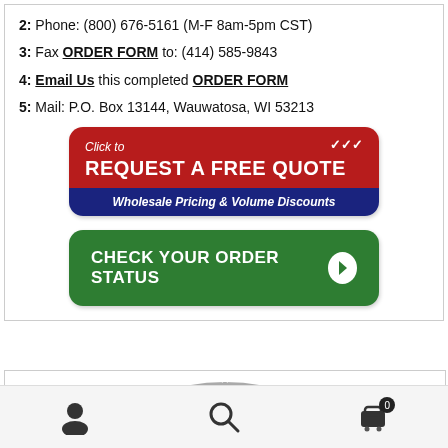2: Phone: (800) 676-5161 (M-F 8am-5pm CST)
3: Fax ORDER FORM to: (414) 585-9843
4: Email Us this completed ORDER FORM
5: Mail: P.O. Box 13144, Wauwatosa, WI 53213
[Figure (infographic): Red and blue button: Click to REQUEST A FREE QUOTE - Wholesale Pricing & Volume Discounts]
[Figure (infographic): Green button: CHECK YOUR ORDER STATUS with arrow icon]
[Figure (infographic): Made in the USA badge with stars and stripes design]
[Figure (infographic): Bottom navigation bar with user icon, search icon, and cart icon with badge showing 0]